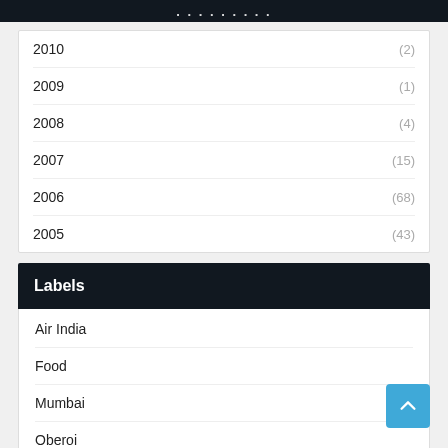...
2010  (2)
2009  (1)
2008  (4)
2007  (15)
2006  (68)
2005  (43)
Labels
Air India
Food
Mumbai
Oberoi
Taj Mahal